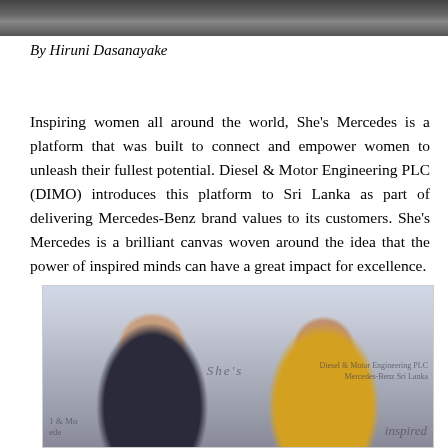[Figure (photo): Top strip photo showing a group of people, partially cropped]
By Hiruni Dasanayake
Inspiring women all around the world, She’s Mercedes is a platform that was built to connect and empower women to unleash their fullest potential. Diesel & Motor Engineering PLC (DIMO) introduces this platform to Sri Lanka as part of delivering Mercedes-Benz brand values to its customers. She’s Mercedes is a brilliant canvas woven around the idea that the power of inspired minds can have a great impact for excellence.
[Figure (photo): Two women smiling at a She's Mercedes event, one in a dark top with a green necklace, one in a yellow top. Event branding and Diesel & Motor Engineering PLC Mercedes-Benz Sri Lanka backdrop visible.]